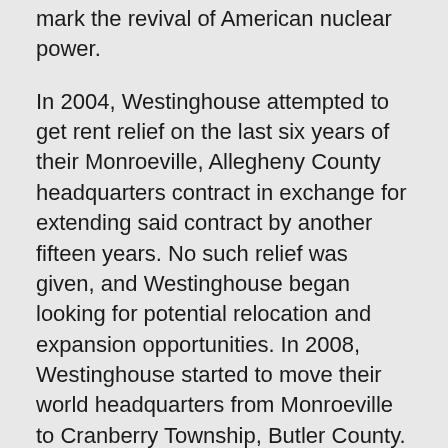mark the revival of American nuclear power.
In 2004, Westinghouse attempted to get rent relief on the last six years of their Monroeville, Allegheny County headquarters contract in exchange for extending said contract by another fifteen years. No such relief was given, and Westinghouse began looking for potential relocation and expansion opportunities. In 2008, Westinghouse started to move their world headquarters from Monroeville to Cranberry Township, Butler County. The new facility, which employs several thousand workers, is now complete, and most passersby have no idea the amount of time and planning that went into its development.
In this case, the company took bids in the form of tax incentives for their potential move. During the infant stages of the relocation, South Carolina offered Westinghouse $60 million more in tax incentives than Pennsylvania did. Pennsylvania and its politicians had to pull out all the stops, including winning their bid, to convince